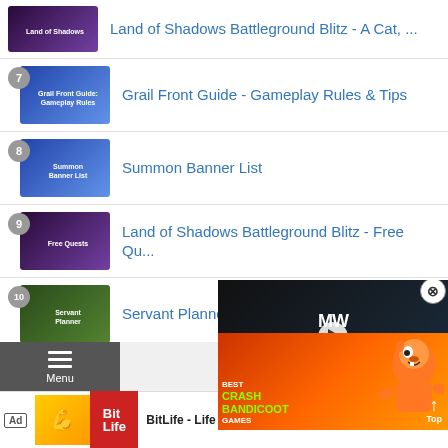Land of Shadows Battleground Blitz - A Cat, ...
7 Grail Front Guide - Gameplay Rules & Tips
8 Summon Banner List
9 Land of Shadows Battleground Blitz - Free Qu...
10 Servant Planner
See A
Advertise
Menu
[Figure (screenshot): Video overlay: Best Crash Bandicoot Games with MW Next Level logo, play button, and orange character graphic]
Ad BitLife - Life Simulator Install!